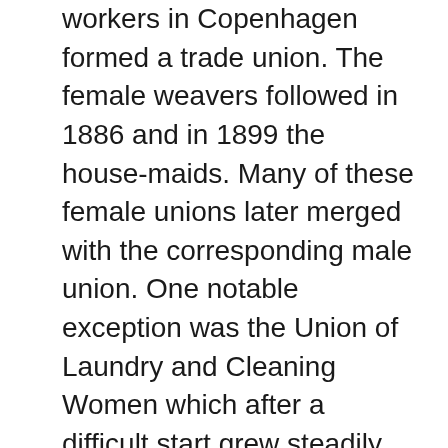workers in Copenhagen formed a trade union. The female weavers followed in 1886 and in 1899 the house-maids. Many of these female unions later merged with the corresponding male union. One notable exception was the Union of Laundry and Cleaning Women which after a difficult start grew steadily throughout the 1890s, led by the renowned Olivia Nielsen. This union also started organizing female industrial workers, new locals were created in the province and in 1901 it was changed into the long lived Federation of Female Workers in Denmark (KAD). Likewise the union of house maids grew into becoming the larger Federation of Domestic Workers.
At the political level, the Social Democrats were at first quite sceptical to the Danish Women's